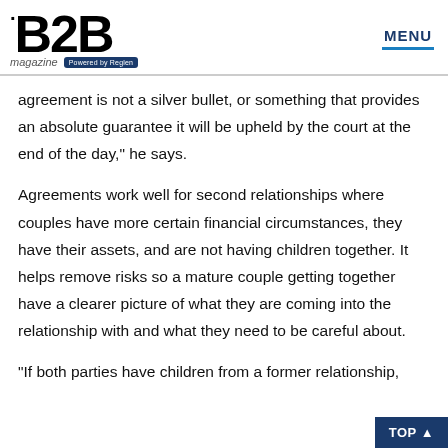B2B magazine Powered by Reglen | MENU
agreement is not a silver bullet, or something that provides an absolute guarantee it will be upheld by the court at the end of the day,” he says.
Agreements work well for second relationships where couples have more certain financial circumstances, they have their assets, and are not having children together. It helps remove risks so a mature couple getting together have a clearer picture of what they are coming into the relationship with and what they need to be careful about.
“If both parties have children from a former relationship,